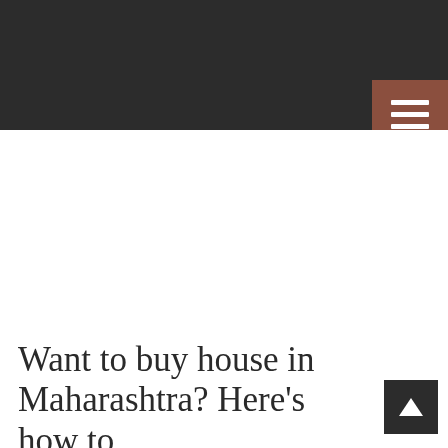[Figure (other): Dark navigation header bar with hamburger menu button in brown/terracotta color on the right side]
Want to buy house in Maharashtra? Here’s how to